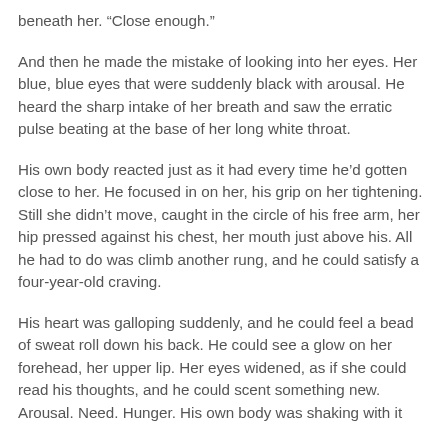beneath her. “Close enough.”
And then he made the mistake of looking into her eyes. Her blue, blue eyes that were suddenly black with arousal. He heard the sharp intake of her breath and saw the erratic pulse beating at the base of her long white throat.
His own body reacted just as it had every time he’d gotten close to her. He focused in on her, his grip on her tightening. Still she didn’t move, caught in the circle of his free arm, her hip pressed against his chest, her mouth just above his. All he had to do was climb another rung, and he could satisfy a four-year-old craving.
His heart was galloping suddenly, and he could feel a bead of sweat roll down his back. He could see a glow on her forehead, her upper lip. Her eyes widened, as if she could read his thoughts, and he could scent something new. Arousal. Need. Hunger. His own body was shaking with it